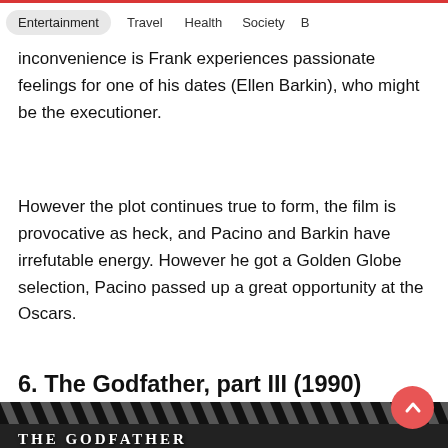Entertainment   Travel   Health   Society   B
inconvenience is Frank experiences passionate feelings for one of his dates (Ellen Barkin), who might be the executioner.
However the plot continues true to form, the film is provocative as heck, and Pacino and Barkin have irrefutable energy. However he got a Golden Globe selection, Pacino passed up a great opportunity at the Oscars.
6. The Godfather, part III (1990)
[Figure (photo): Film strip and Godfather movie promotional image showing THE GODFATHER title text over dark movie stills with actors]